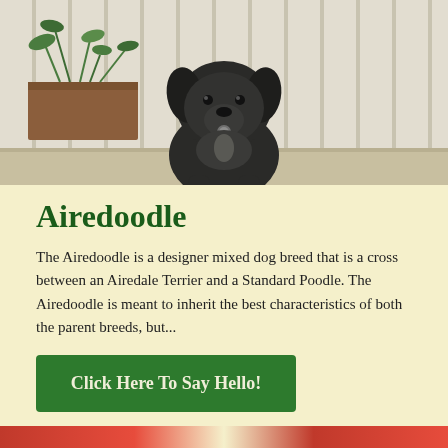[Figure (photo): A black fluffy puppy (Airedoodle) sitting on a porch with white fence boards and green plants in a wooden planter box in the background.]
Airedoodle
The Airedoodle is a designer mixed dog breed that is a cross between an Airedale Terrier and a Standard Poodle. The Airedoodle is meant to inherit the best characteristics of both the parent breeds, but...
Click Here To Say Hello!